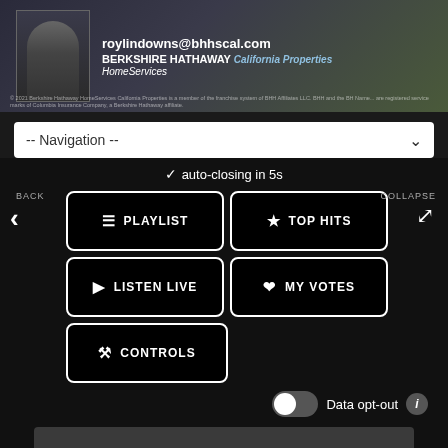[Figure (photo): Advertisement banner for Berkshire Hathaway Home Services California Properties with a woman's portrait, email roylindowns@bhhscal.com and fine print]
-- Navigation --
✓  auto-closing in 5s
BACK
COLLAPSE
PLAYLIST
TOP HITS
LISTEN LIVE
MY VOTES
CONTROLS
Data opt-out
Always Something There to Re…
Naked Eyes
MENU